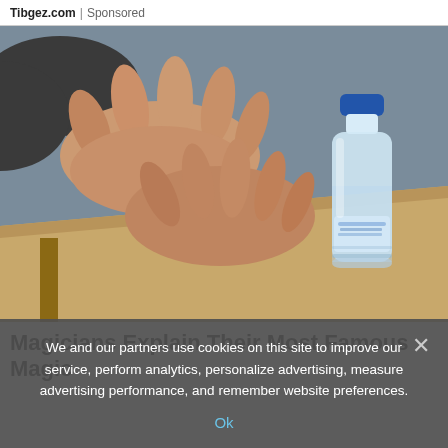Tibgez.com | Sponsored
[Figure (photo): A person's hands hovering over a wooden table with a floating water bottle (Evian) appearing to levitate, magic trick photo, grey background]
Magicians Explain Their Most Famous Magic
We and our partners use cookies on this site to improve our service, perform analytics, personalize advertising, measure advertising performance, and remember website preferences.
Ok